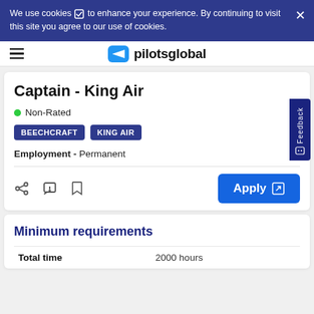We use cookies ☑ to enhance your experience. By continuing to visit this site you agree to our use of cookies.
[Figure (logo): pilotsglobal logo with airplane icon]
Captain - King Air
● Non-Rated
BEECHCRAFT   KING AIR
Employment - Permanent
Apply
Minimum requirements
|  |  |
| --- | --- |
| Total time | 2000 hours |